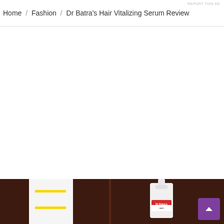REPORT THIS AD
Home / Fashion / Dr Batra's Hair Vitalizing Serum Review
[Figure (photo): Product photo showing Dr Batra's Hair Vitalizing Serum bottle (white bottle with Dr Batra's label) displayed on a dark brown/maroon surface, shown from two angles side by side — left side showing the box/packaging with yellow highlighted text, right side showing the pump bottle with Dr Batra's logo]